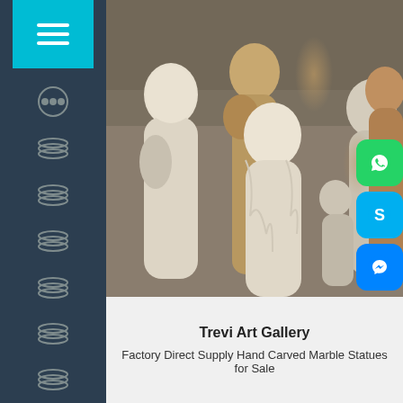[Figure (photo): Sidebar navigation with dark blue background, teal hamburger menu button at top, and multiple layered stack icons below]
[Figure (photo): Photograph of multiple classical marble statues including white marble female figures in draped robes and golden/ochre colored statues, displayed in what appears to be a sculpture gallery or workshop outdoor area]
[Figure (photo): WhatsApp green rounded square icon on the right side]
[Figure (photo): Skype blue rounded square icon on the right side]
[Figure (photo): Facebook Messenger blue rounded square icon on the right side]
Trevi Art Gallery
Factory Direct Supply Hand Carved Marble Statues for Sale